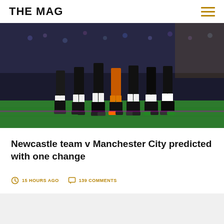THE MAG
[Figure (photo): Football players standing in a wall formation on a pitch, shot from ground level showing legs and lower bodies in black and white kit, with a goalkeeper in orange. Stadium crowd visible in background.]
Newcastle team v Manchester City predicted with one change
15 HOURS AGO
139 COMMENTS